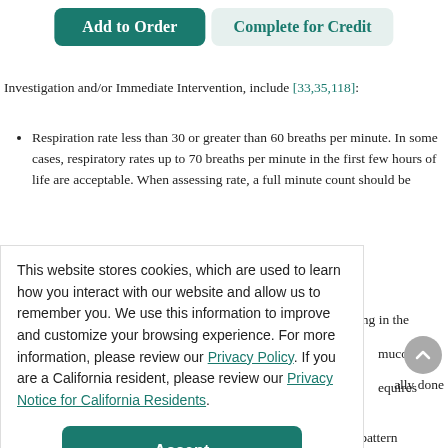[Figure (screenshot): Two navigation buttons: 'Add to Order' (teal/dark green filled) and 'Complete for Credit' (light teal background with teal text)]
Investigation and/or Immediate Intervention, include [33,35,118]:
Respiration rate less than 30 or greater than 60 breaths per minute. In some cases, respiratory rates up to 70 breaths per minute in the first few hours of life are acceptable. When assessing rate, a full minute count should be
This website stores cookies, which are used to learn how you interact with our website and allow us to remember you. We use this information to improve and customize your browsing experience. For more information, please review our Privacy Policy. If you are a California resident, please review our Privacy Notice for California Residents.
ing in the
mucous
equires
[Figure (screenshot): Accept button (teal/dark green filled, rounded rectangle)]
ally done
while the infant is at rest. Many newborns experience a breathing pattern